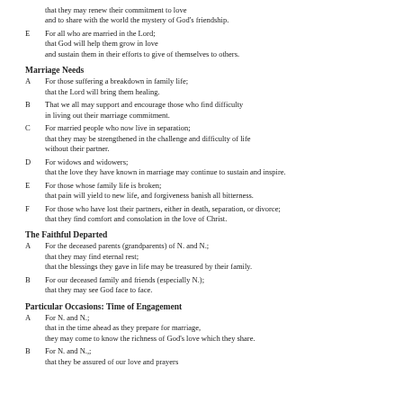that they may renew their commitment to love
and to share with the world the mystery of God's friendship.
E	For all who are married in the Lord;
that God will help them grow in love
and sustain them in their efforts to give of themselves to others.
Marriage Needs
A	For those suffering a breakdown in family life;
that the Lord will bring them healing.
B	That we all may support and encourage those who find difficulty
in living out their marriage commitment.
C	For married people who now live in separation;
that they may be strengthened in the challenge and difficulty of life
without their partner.
D	For widows and widowers;
that the love they have known in marriage may continue to sustain and inspire.
E	For those whose family life is broken;
that pain will yield to new life, and forgiveness banish all bitterness.
F	For those who have lost their partners, either in death, separation, or divorce;
that they find comfort and consolation in the love of Christ.
The Faithful Departed
A	For the deceased parents (grandparents) of N. and N.;
that they may find eternal rest;
that the blessings they gave in life may be treasured by their family.
B	For our deceased family and friends (especially N.);
that they may see God face to face.
Particular Occasions: Time of Engagement
A	For N. and N.;
that in the time ahead as they prepare for marriage,
they may come to know the richness of God's love which they share.
B	For N. and N.,;
that they be assured of our love and prayers